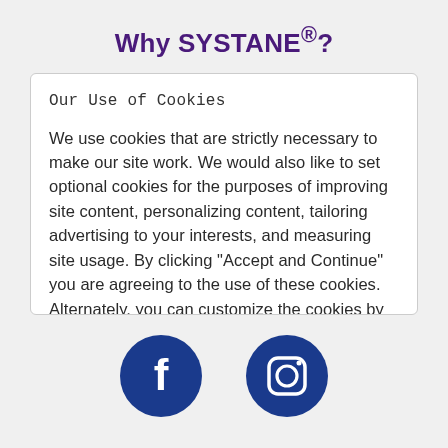Why SYSTANE®?
Our Use of Cookies
We use cookies that are strictly necessary to make our site work. We would also like to set optional cookies for the purposes of improving site content, personalizing content, tailoring advertising to your interests, and measuring site usage. By clicking "Accept and Continue" you are agreeing to the use of these cookies. Alternately, you can customize the cookies by clicking on "Manage Cookie
[Figure (logo): Facebook logo icon (white f on dark blue circle)]
[Figure (logo): Instagram logo icon (camera outline on dark blue circle)]